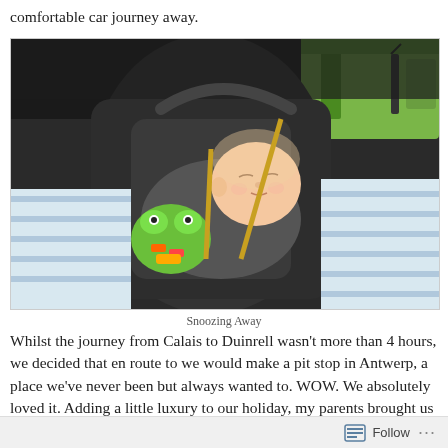comfortable car journey away.
[Figure (photo): A baby sleeping in a car seat, holding a colourful toy frog, covered with a blue and white striped blanket. A green bag is visible in the background.]
Snoozing Away
Whilst the journey from Calais to Duinrell wasn't more than 4 hours, we decided that en route to we would make a pit stop in Antwerp, a place we've never been but always wanted to. WOW. We absolutely loved it. Adding a little luxury to our holiday, my parents brought us a night's stay at the 'Hilton, Old Town' for
Follow